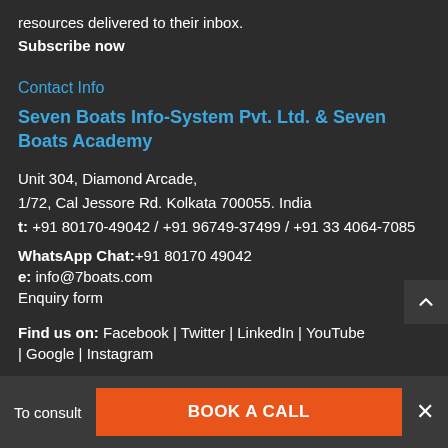resources delivered to their inbox.
Subscribe now
Contact Info
Seven Boats Info-System Pvt. Ltd. & Seven Boats Academy
Unit 304, Diamond Arcade,
1/72, Cal Jessore Rd. Kolkata 700055. India
t: +91 80170-49042 / +91 96749-37499 / +91 33 4064-7085
WhatsApp Chat:+91 80170 49042
e: info@7boats.com
Enquiry form
Find us on: Facebook | Twitter | LinkedIn | YouTube | Google | Instagram
To consult   BOOK A CALL   ×